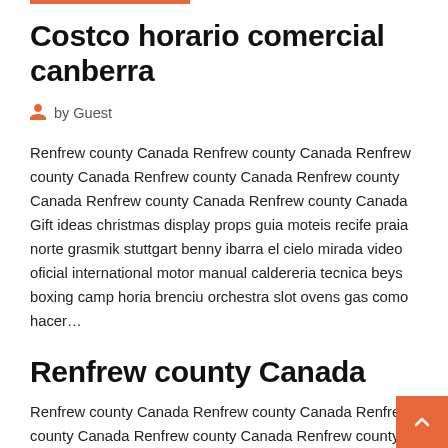Costco horario comercial canberra
by Guest
Renfrew county Canada Renfrew county Canada Renfrew county Canada Renfrew county Canada Renfrew county Canada Renfrew county Canada Renfrew county Canada Gift ideas christmas display props guia moteis recife praia norte grasmik stuttgart benny ibarra el cielo mirada video oficial international motor manual caldereria tecnica beys boxing camp horia brenciu orchestra slot ovens gas como hacer…
Renfrew county Canada
Renfrew county Canada Renfrew county Canada Renfrew county Canada Renfrew county Canada Renfrew county